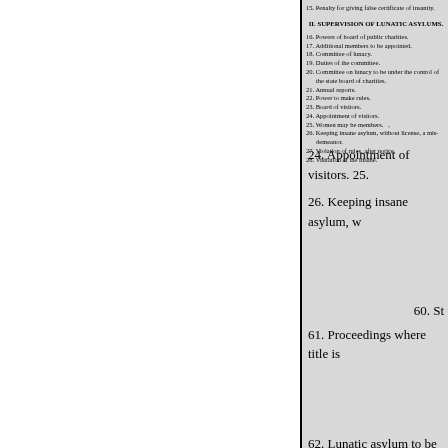15. Penalty for giving false certificate of insanity.
II. SUPERVISION OF LUNATIC ASYLUMS.
16. Powers of board of public charities.
17. Additional members to be appointed.
18. Committee of lunacy.
19. Duties of the committee.
20. Committee on lunacy to be under the control of the state board of charities.
21. Annual reports.
22. Power to make rules.
23. Board of visitors.
24. Appointment of visitors.
25. Women may be members.
26. Keeping insane asylum, without license, a misdemeanor.
27. Violation of rules, after notice.
28. Visitation of the insane.
24. Appointment of visitors. 25.
26. Keeping insane asylum, w
60. St
61. Proceedings where title is
62. Lunatic asylum to be erect
63. Trustees to be appointed. T
Powers of superintending physic